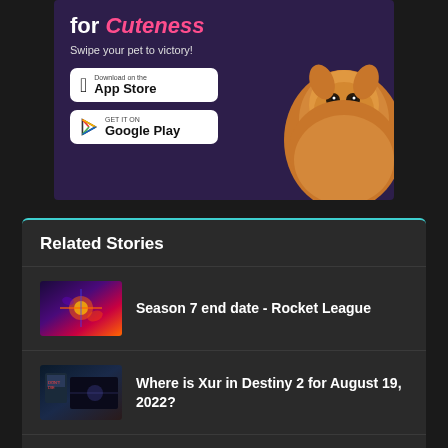[Figure (screenshot): Mobile app advertisement banner for a pet cuteness app on dark purple background, showing 'for Cuteness' title in white and pink text, 'Swipe your pet to victory!' subtitle, App Store and Google Play download buttons, and a Pomeranian dog photo on the right]
Related Stories
Season 7 end date - Rocket League
Where is Xur in Destiny 2 for August 19, 2022?
All Season 18 Artifact mods - Destiny 2